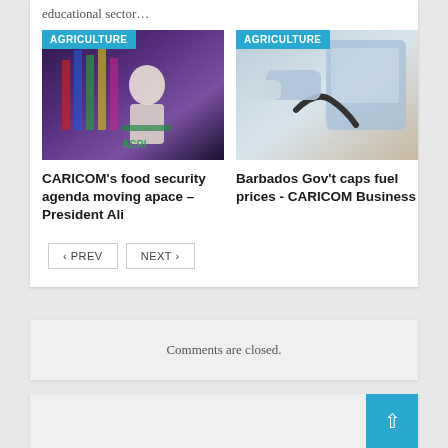educational sector…
[Figure (photo): Person speaking at podium with CARICOM flags in background, AGRICULTURE badge overlay]
[Figure (photo): Person pumping fuel at gas station, AGRICULTURE badge overlay]
CARICOM's food security agenda moving apace – President Ali
Barbados Gov't caps fuel prices - CARICOM Business
PREV
NEXT
Comments are closed.